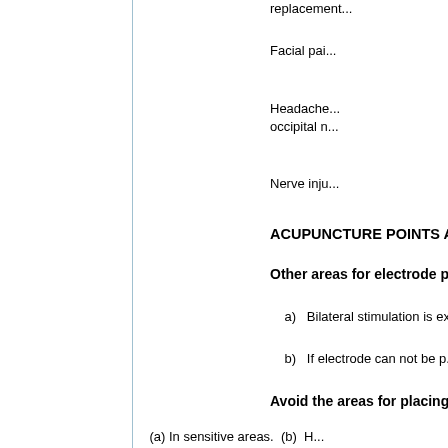replacement...
Facial pai...
Headache... occipital n...
Nerve inju...
ACUPUNCTURE POINTS AND ...
Other areas for electrode plac...
a)  Bilateral stimulation is ex...
b)  If electrode can not be p...
Avoid the areas for placing ele...
(a) In sensitive areas.  (b)  H...
CONVENTIONAL TNS MODE (...
Most frequently used, it has a w... PPS, usually 80-100 PPS) and l...
TO OBTAIN BEST RESULT...
The electrode placement should...
High Width, Low rate (Acupu...